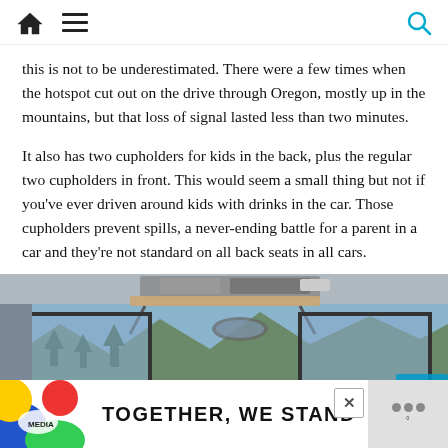Home menu search icons
this is not to be underestimated. There were a few times when the hotspot cut out on the drive through Oregon, mostly up in the mountains, but that loss of signal lasted less than two minutes.
It also has two cupholders for kids in the back, plus the regular two cupholders in front. This would seem a small thing but not if you've ever driven around kids with drinks in the car. Those cupholders prevent spills, a never-ending battle for a parent in a car and they're not standard on all back seats in all cars.
[Figure (photo): Interior view of a minivan from rear seats looking forward through panoramic windshield, showing a fold-down tray table mounted from roof console, mountains and trees visible through large windows]
TOGETHER, WE STAND (advertisement banner)